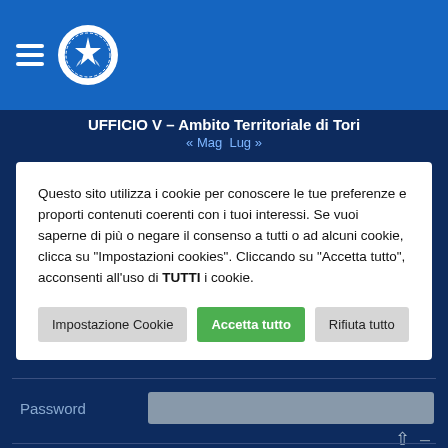UFFICIO V – Ambito Territoriale di Tori
« Mag  Lug »
Questo sito utilizza i cookie per conoscere le tue preferenze e proporti contenuti coerenti con i tuoi interessi. Se vuoi saperne di più o negare il consenso a tutti o ad alcuni cookie, clicca su "Impostazioni cookies". Cliccando su "Accetta tutto", acconsenti all'uso di TUTTI i cookie.
Impostazione Cookie | Accetta tutto | Rifiuta tutto
Password